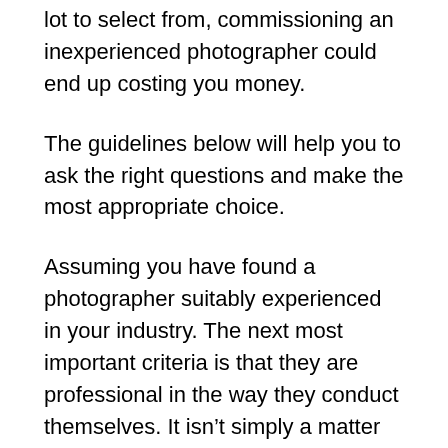lot to select from, commissioning an inexperienced photographer could end up costing you money.
The guidelines below will help you to ask the right questions and make the most appropriate choice.
Assuming you have found a photographer suitably experienced in your industry. The next most important criteria is that they are professional in the way they conduct themselves. It isn’t simply a matter of ‘turning up on time’, confidentiality regarding production processes and future business expansion plans are hugely important.
Inside Out Photography believes that while working